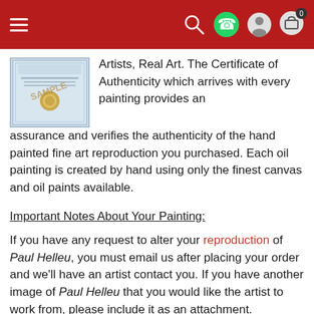Navigation bar with hamburger menu, search, WhatsApp, account, and cart (0) icons
[Figure (photo): Sample Certificate of Authenticity document with blue decorative border and gold seal, watermarked with SAMPLE text]
Artists, Real Art. The Certificate of Authenticity which arrives with every painting provides an assurance and verifies the authenticity of the hand painted fine art reproduction you purchased. Each oil painting is created by hand using only the finest canvas and oil paints available.
Important Notes About Your Painting:
If you have any request to alter your reproduction of Paul Helleu, you must email us after placing your order and we'll have an artist contact you. If you have another image of Paul Helleu that you would like the artist to work from, please include it as an attachment. Otherwise, we will reproduce the above image for you exactly as it is.